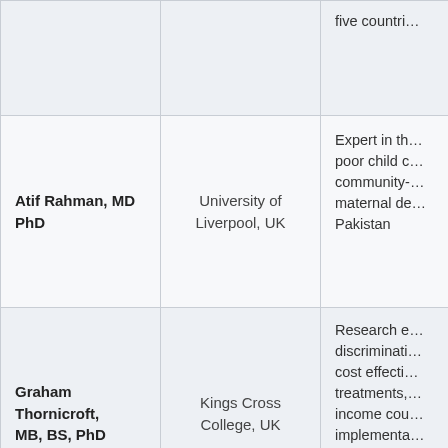| Name | Affiliation | Expertise |
| --- | --- | --- |
|  |  | five countri… |
| Atif Rahman, MD PhD | University of Liverpool, UK | Expert in th… poor child c… community-… maternal de… Pakistan |
| Graham Thornicroft, MB, BS, PhD | Kings Cross College, UK | Research e… discriminati… cost effecti… treatments,… income cou… implementa… |
| Mark Tomlinson, PhD | Stellenbosch University, South Africa… | Epidemiolo… between po… relationship… on infant an… |